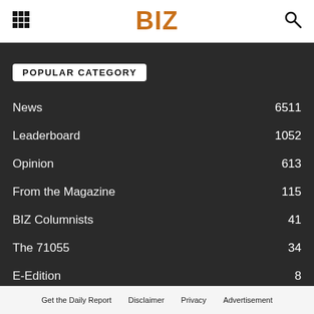BIZ
POPULAR CATEGORY
News 6511
Leaderboard 1052
Opinion 613
From the Magazine 115
BIZ Columnists 41
The 71055 34
E-Edition 8
Get the Daily Report   Disclaimer   Privacy   Advertisement